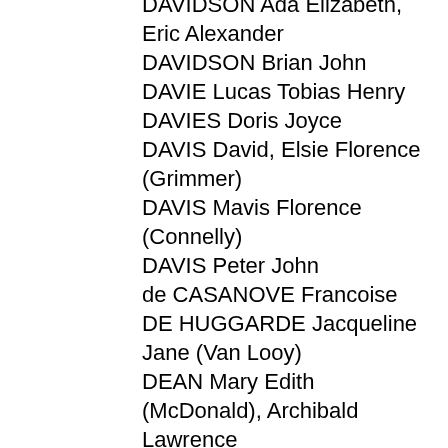DAVIDSON Ada Elizabeth, Eric Alexander
DAVIDSON Brian John
DAVIE Lucas Tobias Henry
DAVIES Doris Joyce
DAVIS David, Elsie Florence (Grimmer)
DAVIS Mavis Florence (Connelly)
DAVIS Peter John
de CASANOVE Francoise
DE HUGGARDE Jacqueline Jane (Van Looy)
DEAN Mary Edith (McDonald), Archibald Lawrence
DELAHUNTY Ronald Martin, Margaret C (Ronnie)
DEMARCHI Phoebe Hannah